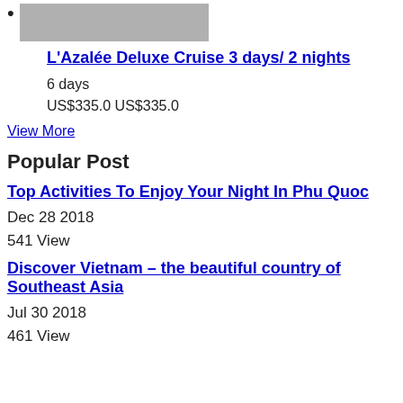[Figure (photo): Gray placeholder image bar next to a bullet point]
L'Azalée Deluxe Cruise 3 days/ 2 nights
6 days
US$335.0 US$335.0
View More
Popular Post
Top Activities To Enjoy Your Night In Phu Quoc
Dec 28 2018
541 View
Discover Vietnam – the beautiful country of Southeast Asia
Jul 30 2018
461 View